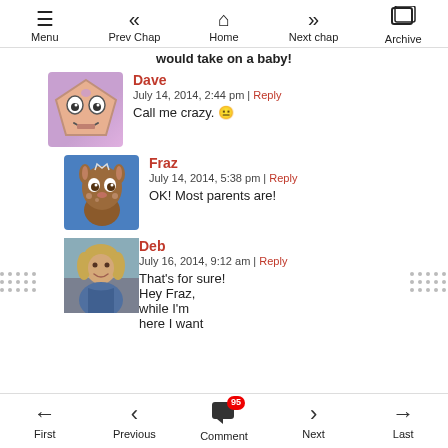Menu | Prev Chap | Home | Next chap | Archive
would take on a baby!
Dave
July 14, 2014, 2:44 pm | Reply
Call me crazy. 😐
Fraz
July 14, 2014, 5:38 pm | Reply
OK! Most parents are!
Deb
July 16, 2014, 9:12 am | Reply
That's for sure! Hey Fraz, while I'm here I want
First | Previous | Comment 95 | Next | Last